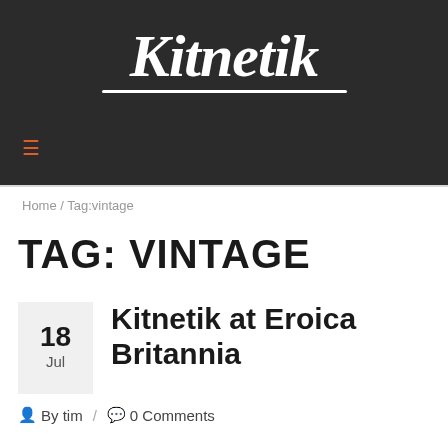Kitnetik
Home / Tag:vintage
TAG: VINTAGE
18 Jul  Kitnetik at Eroica Britannia
By tim / 0 Comments